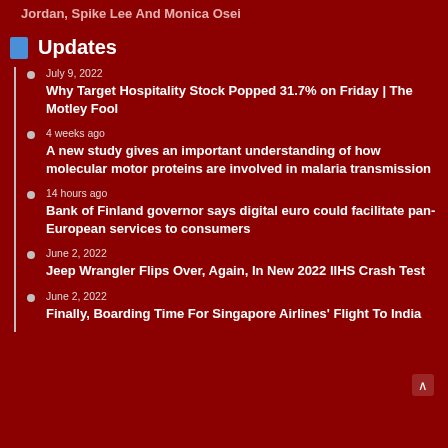Jordan, Spike Lee And Monica Osei
Updates
July 9, 2022
Why Target Hospitality Stock Popped 31.7% on Friday | The Motley Fool
4 weeks ago
A new study gives an important understanding of how molecular motor proteins are involved in malaria transmission
14 hours ago
Bank of Finland governor says digital euro could facilitate pan-European services to consumers
June 2, 2022
Jeep Wrangler Flips Over, Again, In New 2022 IIHS Crash Test
June 2, 2022
Finally, Boarding Time For Singapore Airlines' Flight To India